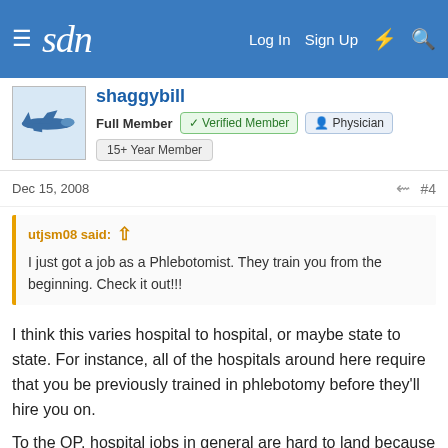sdn | Log In  Sign Up
shaggybill
Full Member  Verified Member  Physician
15+ Year Member
Dec 15, 2008   #4
utjsm08 said:
I just got a job as a Phlebotomist. They train you from the beginning. Check it out!!!
I think this varies hospital to hospital, or maybe state to state. For instance, all of the hospitals around here require that you be previously trained in phlebotomy before they'll hire you on.
To the OP, hospital jobs in general are hard to land because they are well advertised and pay well. And unless you already have contacts within the hospital who are in upper management, you'll be dealing with HR when you apply instead of the department director. This means you are dealing with a